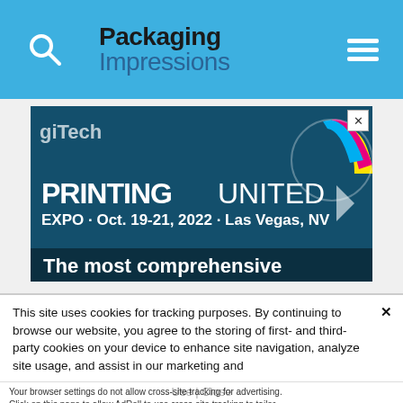Packaging Impressions
[Figure (screenshot): Advertisement for PRINTING United Expo, Oct. 19-21, 2022, Las Vegas, NV. Shows text 'PRINTING UNITED EXPO · Oct. 19-21, 2022 · Las Vegas, NV' and 'The most comprehensive' on a dark teal/blue background with a crowd of people and a circular CMYK color logo.]
This site uses cookies for tracking purposes. By continuing to browse our website, you agree to the storing of first- and third-party cookies on your device to enhance site navigation, analyze site usage, and assist in our marketing and
Accept and Close ✕
Your browser settings do not allow cross-site tracking for advertising. Click on this page to allow AdRoll to use cross-site tracking to tailor ads to you. Learn more or opt out of this AdRoll tracking by clicking here. This message only appears once.
Use | Close